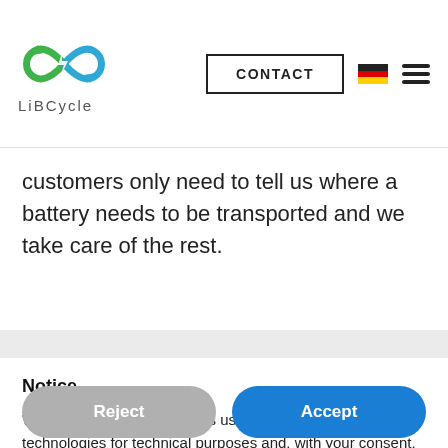[Figure (logo): LiBCycle logo with infinity/recycling symbol in green and blue, with text 'LiBCycle' below]
CONTACT
customers only need to tell us where a battery needs to be transported and we take care of the rest.
Notice
We and selected third parties use cookies or similar technologies for technical purposes and, with your consent, for other purposes as specified in the cookie policy. Denying consent may make related features unavailable.
Reject
Accept